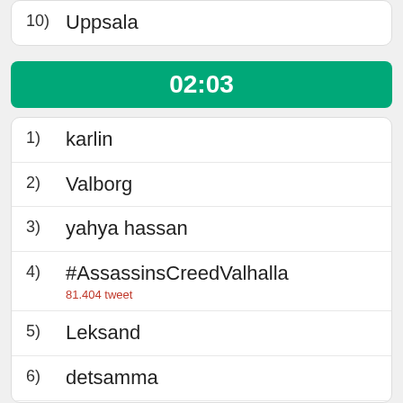10) Uppsala
02:03
1) karlin
2) Valborg
3) yahya hassan
4) #AssassinsCreedValhalla
81.404 tweet
5) Leksand
6) detsamma
7) #heautifulharries
111.975 tweet